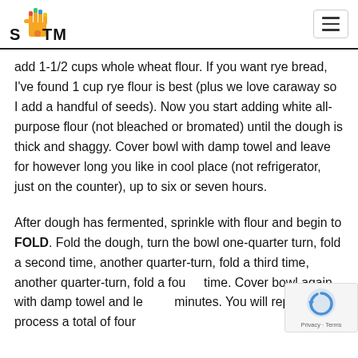STTM
add 1-1/2 cups whole wheat flour. If you want rye bread, I've found 1 cup rye flour is best (plus we love caraway so I add a handful of seeds). Now you start adding white all-purpose flour (not bleached or bromated) until the dough is thick and shaggy. Cover bowl with damp towel and leave for however long you like in cool place (not refrigerator, just on the counter), up to six or seven hours.
After dough has fermented, sprinkle with flour and begin to FOLD. Fold the dough, turn the bowl one-quarter turn, fold a second time, another quarter-turn, fold a third time, another quarter-turn, fold a fourth time. Cover bowl again with damp towel and let rest minutes. You will repeat this process a total of four